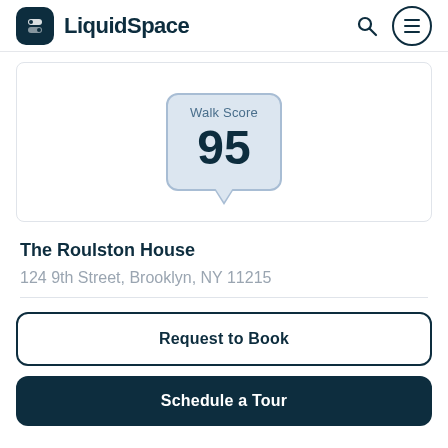LiquidSpace
[Figure (infographic): Walk Score badge showing score of 95 inside a speech bubble tooltip shape with light blue background]
The Roulston House
124 9th Street, Brooklyn, NY 11215
Request to Book
Schedule a Tour